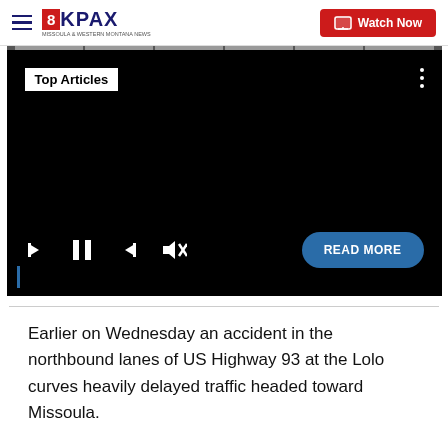8KPAX — Watch Now
[Figure (screenshot): Embedded video player with black background showing 'Top Articles' label, media controls (skip back, pause, skip forward, mute), a 'READ MORE' button, and a progress bar at top]
Earlier on Wednesday an accident in the northbound lanes of US Highway 93 at the Lolo curves heavily delayed traffic headed toward Missoula.